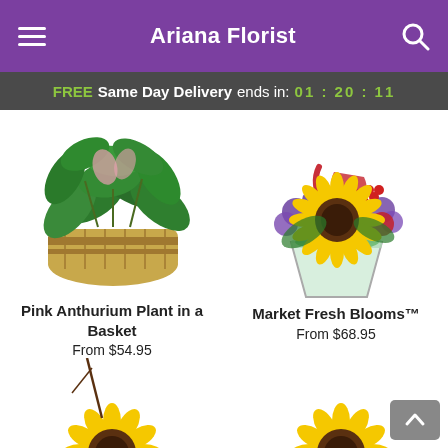Ariana Florist
FREE Same Day Delivery ends in: 01 : 20 : 11
[Figure (photo): Pink Anthurium Plant in a woven basket]
Pink Anthurium Plant in a Basket
From $54.95
[Figure (photo): Market Fresh Blooms colorful flower arrangement in glass vase with sunflowers, roses, and purple flowers]
Market Fresh Blooms™
From $68.95
[Figure (photo): Sunflower arrangement partially visible at bottom left]
[Figure (photo): Sunflower arrangement partially visible at bottom right]